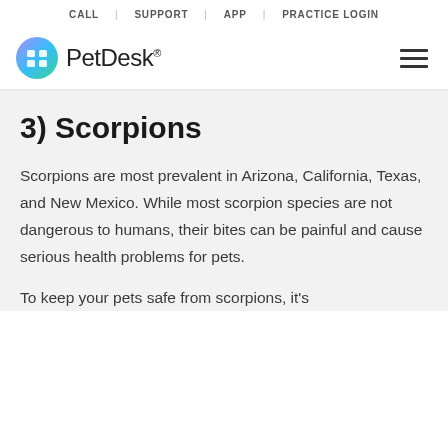CALL | SUPPORT | APP | PRACTICE LOGIN
[Figure (logo): PetDesk logo with colorful circular icon and hamburger menu icon on the right]
3) Scorpions
Scorpions are most prevalent in Arizona, California, Texas, and New Mexico. While most scorpion species are not dangerous to humans, their bites can be painful and cause serious health problems for pets.
To keep your pets safe from scorpions, it's